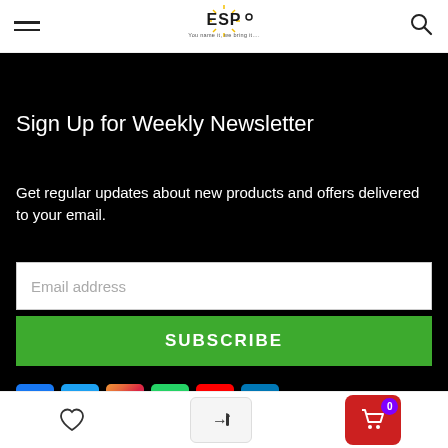[Figure (logo): ESP logo — 'You name it, we bring it...' tagline]
Sign Up for Weekly Newsletter
Get regular updates about new products and offers delivered to your email.
Email address
SUBSCRIBE
[Figure (other): Social media icons: Facebook, Twitter, Instagram, WhatsApp, YouTube, LinkedIn]
[Figure (other): Bottom navigation bar with wishlist heart icon, login arrow icon, and red shopping cart with badge 0]